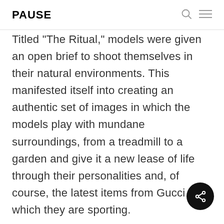PAUSE
Titled "The Ritual," models were given an open brief to shoot themselves in their natural environments. This manifested itself into creating an authentic set of images in which the models play with mundane surroundings, from a treadmill to a garden and give it a new lease of life through their personalities and, of course, the latest items from Gucci which they are sporting.